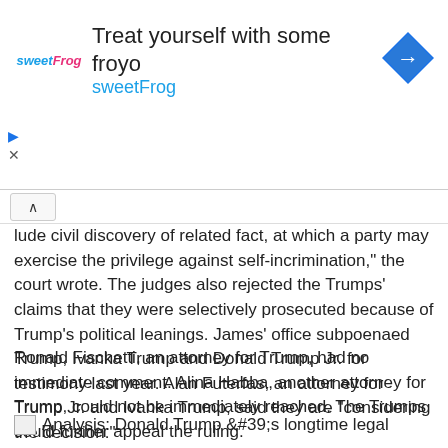[Figure (other): SweetFrog advertisement banner with logo, headline 'Treat yourself with some froyo', and a blue navigation icon]
lude civil discovery of related fact, at which a party may exercise the privilege against self-incrimination,” the court wrote. The judges also rejected the Trumps’ claims that they were selectively prosecuted because of Trump’s political leanings. James’ office subpoenaed Trump, Ivanka Trump and Donald Trump Jr. for testimony last year. Alan Futerfas, an attorney for Trump Jr. and Ivanka Trump, said they are “considering the decision.”
Ronald Fischetti, an attorney for Trump, had no immediate comment. Alina Habba, another attorney for Trump, could not be immediately reached. The Trumps could further appeal the ruling.
Analysis: Donald Trump &#39;s longtime legal